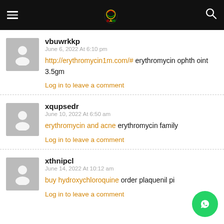BAM (navigation header with logo, hamburger menu, and search icon)
vbuwrkkp
June 6, 2022 At 6:10 pm
http://erythromycin1m.com/# erythromycin ophth oint 3.5gm
Log in to leave a comment
xqupsedr
June 10, 2022 At 6:50 am
erythromycin and acne erythromycin family
Log in to leave a comment
xthnipcl
June 14, 2022 At 10:12 am
buy hydroxychloroquine order plaquenil pi...
Log in to leave a comment